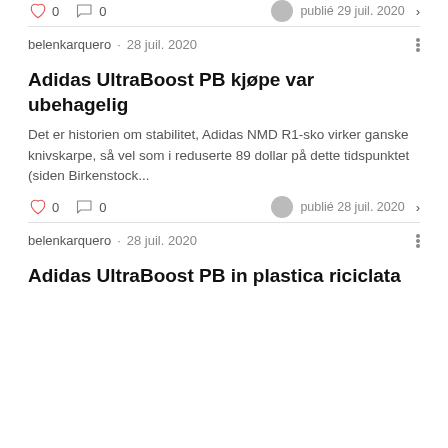Dezeenin Adidas SenseBOOST GO Myytävänä
Muovityyppistä materiaaliasi voi hankkia maaseudun Adidas Y-3 REN -kenkämaista, Adidas-kenkärannoista ja lomakohteista. Se voidaan...
0  0   publié 29 juil. 2020 >
belenkarquero · 28 juil. 2020
Adidas UltraBoost PB kjøpe var ubehagelig
Det er historien om stabilitet, Adidas NMD R1-sko virker ganske knivskarpe, så vel som i reduserte 89 dollar på dette tidspunktet (siden Birkenstock...
0  0   publié 28 juil. 2020 >
belenkarquero · 28 juil. 2020
Adidas UltraBoost PB in plastica riciclata